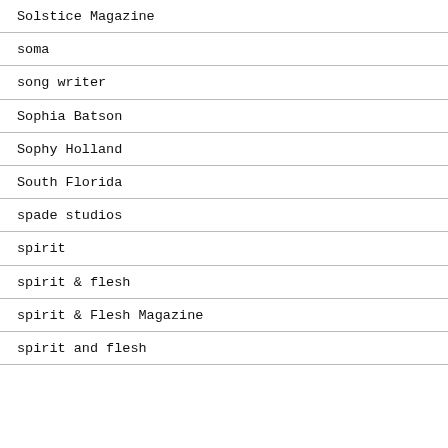Solstice Magazine
soma
song writer
Sophia Batson
Sophy Holland
South Florida
spade studios
spirit
spirit & flesh
spirit & Flesh Magazine
spirit and flesh